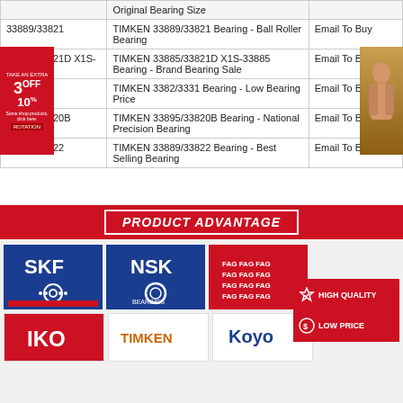|  | Original Bearing Size |  |
| --- | --- | --- |
| 33889/33821 | TIMKEN 33889/33821 Bearing - Ball Roller Bearing | Email To Buy |
| 33885/33821D X1S-33885 | TIMKEN 33885/33821D X1S-33885 Bearing - Brand Bearing Sale | Email To Buy |
| 3382/3331 | TIMKEN 3382/3331 Bearing - Low Bearing Price | Email To Buy |
| 33895/33820B | TIMKEN 33895/33820B Bearing - National Precision Bearing | Email To Buy |
| 33889/33822 | TIMKEN 33889/33822 Bearing - Best Selling Bearing | Email To Buy |
[Figure (infographic): Product Advantage banner with brand logos (SKF, NSK, FAG, IKO, TIMKEN, Koyo) and quality badges (HIGH QUALITY, LOW PRICE)]